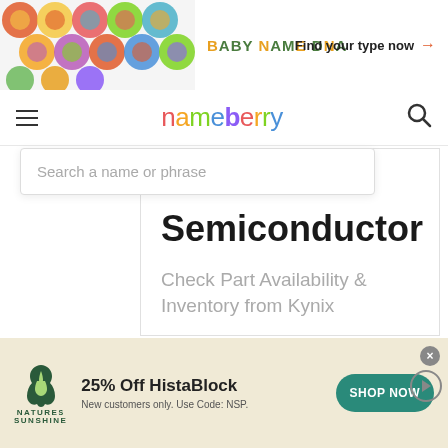[Figure (screenshot): Top banner advertisement for Baby Name DNA with colorful hexagonal pattern on left, 'BABY NAME DNA' text in center, and 'Find your type now →' on right]
nameberry
Search a name or phrase
Semiconductor
Check Part Availability & Inventory from Kynix
Kynix
[Figure (screenshot): Bottom banner ad for Nature's Sunshine: '25% Off HistaBlock. New customers only. Use Code: NSP.' with SHOP NOW button]